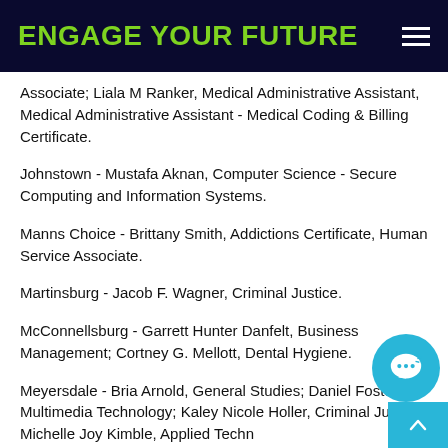ENGAGE YOUR FUTURE
Associate; Liala M Ranker, Medical Administrative Assistant, Medical Administrative Assistant - Medical Coding & Billing Certificate.
Johnstown - Mustafa Aknan, Computer Science - Secure Computing and Information Systems.
Manns Choice - Brittany Smith, Addictions Certificate, Human Service Associate.
Martinsburg - Jacob F. Wagner, Criminal Justice.
McConnellsburg - Garrett Hunter Danfelt, Business Management; Cortney G. Mellott, Dental Hygiene.
Meyersdale - Bria Arnold, General Studies; Daniel Foster, Multimedia Technology; Kaley Nicole Holler, Criminal Justice; Michelle Joy Kimble, Applied Techn…